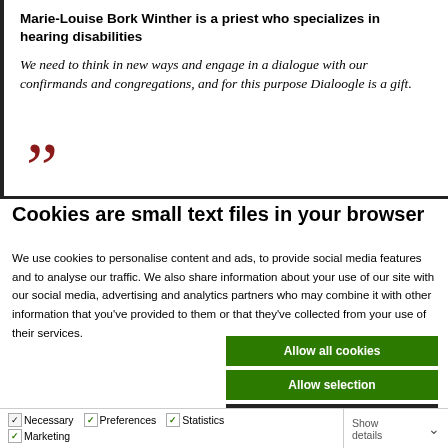Marie-Louise Bork Winther is a priest who specializes in hearing disabilities
We need to think in new ways and engage in a dialogue with our confirmands and congregations, and for this purpose Dialoogle is a gift.
Cookies are small text files in your browser
We use cookies to personalise content and ads, to provide social media features and to analyse our traffic. We also share information about your use of our site with our social media, advertising and analytics partners who may combine it with other information that you've provided to them or that they've collected from your use of their services.
Allow all cookies
Allow selection
Use necessary cookies only
Necessary  Preferences  Statistics  Marketing  Show details